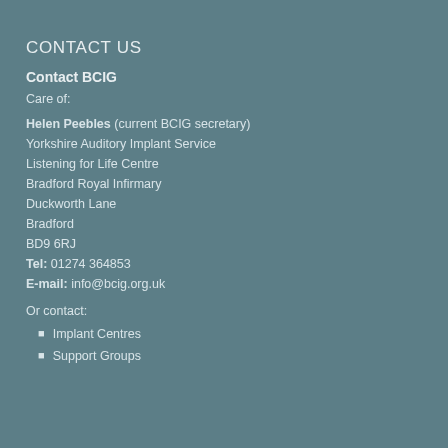CONTACT US
Contact BCIG
Care of:
Helen Peebles (current BCIG secretary)
Yorkshire Auditory Implant Service
Listening for Life Centre
Bradford Royal Infirmary
Duckworth Lane
Bradford
BD9 6RJ
Tel: 01274 364853
E-mail: info@bcig.org.uk
Or contact:
Implant Centres
Support Groups